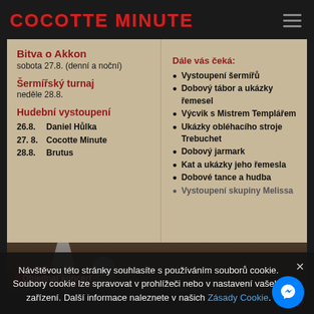COCOTTE MINUTE
Bitva o Akkon
sobota 27.8. (denní a noční)
Šermířský turnaj
neděle 28.8.
Hudební vystoupení
26.8.    Daniel Hůlka
27. 8.   Cocotte Minute
28.8.    Brutus
Dále vás čeká:
Vystoupení šermířů
Dobový tábor a ukázky řemesel
Výcvik s Mistrem Templářem
Ukázky obléhacího stroje Trebuchet
Dobový jarmark
Kat a ukázky jeho řemesla
Dobové tance a hudba
Vystoupení skupiny Melissa
Návštěvou této stránky souhlasíte s používáním souborů cookie. Soubory cookie lze spravovat v prohlížeči nebo v nastavení vašeho zařízení. Další informace naleznete v našich Zásady Cookie.